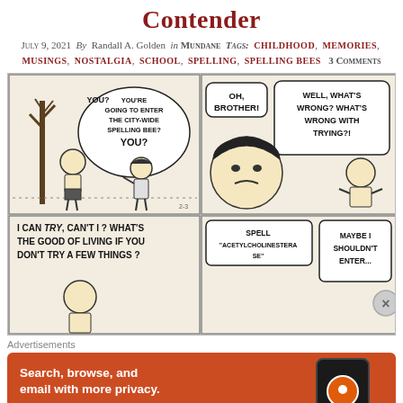Contender
July 9, 2021  By Randall A. Golden  in Mundane  Tags: CHILDHOOD, MEMORIES, MUSINGS, NOSTALGIA, SCHOOL, SPELLING, SPELLING BEES  3 Comments
[Figure (illustration): Peanuts comic strip showing Charlie Brown and Lucy discussing the city-wide spelling bee. Panel 1: Lucy says 'YOU? YOU'RE GOING TO ENTER THE CITY-WIDE SPELLING BEE? YOU?' Panel 2: Lucy says 'OH, BROTHER! WELL, WHAT'S WRONG? WHAT'S WRONG WITH TRYING?!' Panel 3: Charlie Brown says 'I CAN TRY, CAN'T I? WHAT'S THE GOOD OF LIVING IF YOU DON'T TRY A FEW THINGS?' Panel 4: Someone says 'SPELL ACETYLCHOLINESTERASE' and Charlie says 'MAYBE I SHOULDN'T ENTER...']
Advertisements
[Figure (infographic): DuckDuckGo advertisement: Search, browse, and email with more privacy. All in One Free App. Shows a phone with DuckDuckGo logo.]